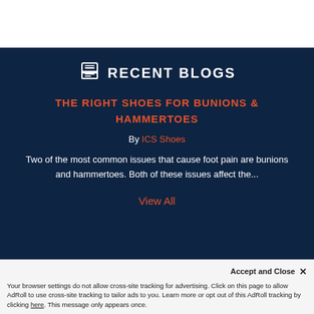RECENT BLOGS
THE RIGHT SHOES FOR BUNIONS & HAMMERTOES
By ICS Shoes
Two of the most common issues that cause foot pain are bunions and hammertoes. Both of these issues affect the...
View All
STORE INFORMATION   CONTACT US
Accept and Close ×
Your browser settings do not allow cross-site tracking for advertising. Click on this page to allow AdRoll to use cross-site tracking to tailor ads to you. Learn more or opt out of this AdRoll tracking by clicking here. This message only appears once.